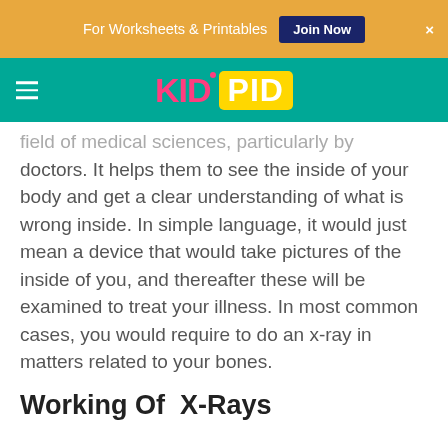For Worksheets & Printables   Join Now   ×
[Figure (logo): KidPid logo with hamburger menu on teal navigation bar]
field of medical sciences, particularly by doctors. It helps them to see the inside of your body and get a clear understanding of what is wrong inside. In simple language, it would just mean a device that would take pictures of the inside of you, and thereafter these will be examined to treat your illness. In most common cases, you would require to do an x-ray in matters related to your bones.
Working Of  X-Rays